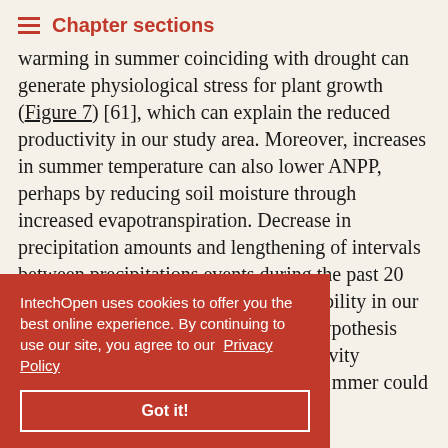Chapter sections
Warming in summer coinciding with drought can generate physiological stress for plant growth (Figure 7) [61], which can explain the reduced productivity in our study area. Moreover, increases in summer temperature can also lower ANPP, perhaps by reducing soil moisture through increased evapotranspiration. Decrease in precipitation amounts and lengthening of intervals between precipitations events during the past 20 years further reduced soil water availability in our study region. This is in line with the hypothesis that impacts of …productivity …ure [36]. …mmer could …and limit soil …productivity.
IntechOpen uses cookies to offer you the best online experience. By continuing to use our site, you agree to our Privacy Policy
Got it!